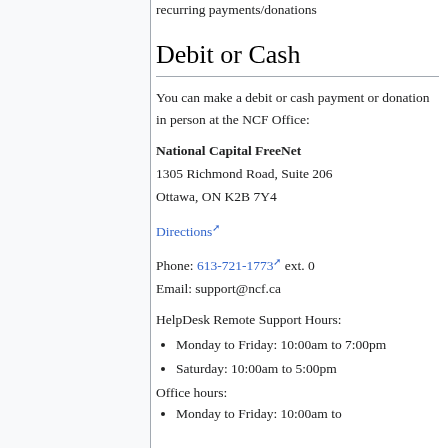recurring payments/donations
Debit or Cash
You can make a debit or cash payment or donation in person at the NCF Office:
National Capital FreeNet
1305 Richmond Road, Suite 206
Ottawa, ON K2B 7Y4
Directions
Phone: 613-721-1773 ext. 0
Email: support@ncf.ca
HelpDesk Remote Support Hours:
Monday to Friday: 10:00am to 7:00pm
Saturday: 10:00am to 5:00pm
Office hours:
Monday to Friday: 10:00am to